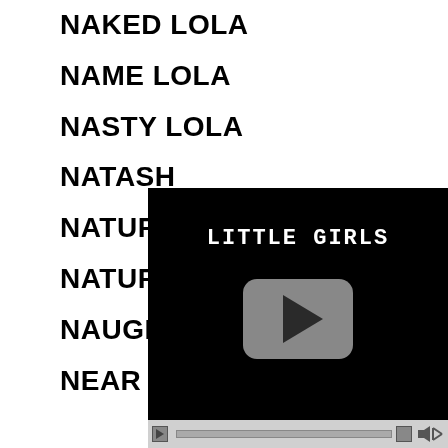NAKED LOLA
NAME LOLA
NASTY LOLA
NATASH[...]
NATUR[...]
NATURAL[...]
NAUGH[...]
NEAR[...]
[Figure (screenshot): Video player with black background showing title 'LITTLE GIRLS' in white monospace text and a grey play button, with video controls bar at bottom]